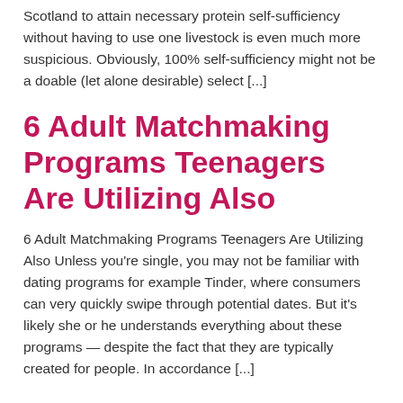Scotland to attain necessary protein self-sufficiency without having to use one livestock is even much more suspicious. Obviously, 100% self-sufficiency might not be a doable (let alone desirable) select [...]
6 Adult Matchmaking Programs Teenagers Are Utilizing Also
6 Adult Matchmaking Programs Teenagers Are Utilizing Also Unless you're single, you may not be familiar with dating programs for example Tinder, where consumers can very quickly swipe through potential dates. But it's likely she or he understands everything about these programs — despite the fact that they are typically created for people. In accordance [...]
Is Mickey and you may